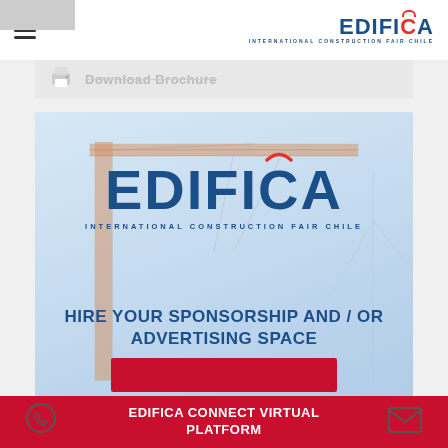[Figure (screenshot): Small thumbnail image in top-left corner of the page header]
EDIFICA INTERNATIONAL CONSTRUCTION FAIR CHILE
[Figure (screenshot): Download brochure button bar with printer icon]
[Figure (photo): Construction crane banner image with Edifica logo overlay, text HIRE YOUR SPONSORSHIP AND / OR ADVERTISING SPACE, and red button]
EDIFICA CONNECT VIRTUAL PLATFORM